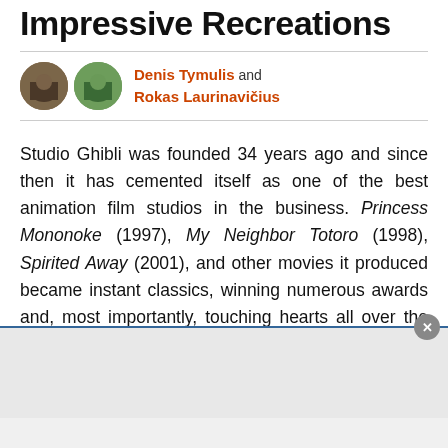Impressive Recreations
Denis Tymulis and Rokas Laurinavičius
Studio Ghibli was founded 34 years ago and since then it has cemented itself as one of the best animation film studios in the business. Princess Mononoke (1997), My Neighbor Totoro (1998), Spirited Away (2001), and other movies it produced became instant classics, winning numerous awards and, most importantly, touching hearts all over the world.
[Figure (other): Advertisement area with close button]